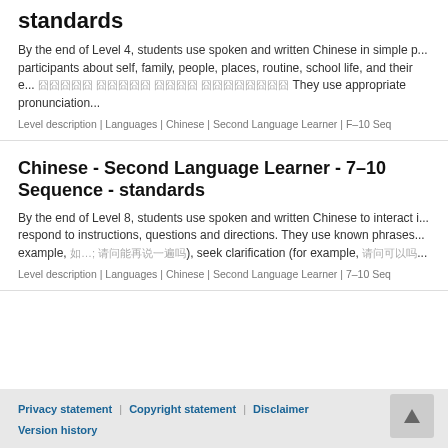standards
By the end of Level 4, students use spoken and written Chinese in simple p... participants about self, family, people, places, routine, school life, and their e... 【Chinese characters】 They use appropriate pronunciation...
Level description | Languages | Chinese | Second Language Learner | F–10 Seq
Chinese - Second Language Learner - 7–10 Sequence - standards
By the end of Level 8, students use spoken and written Chinese to interact i... respond to instructions, questions and directions. They use known phrases... example, 如。。。; 【Chinese characters】), seek clarification (for example, 【Chinese】...
Level description | Languages | Chinese | Second Language Learner | 7–10 Seq
Privacy statement | Copyright statement | Disclaimer
Version history